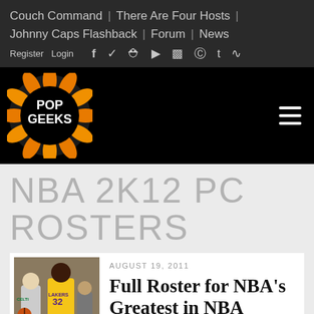Couch Command | There Are Four Hosts | Johnny Caps Flashback | Forum | News
Register  Login
[Figure (logo): Pop Geeks logo — circular orange flame ring with white text POP GEEKS on black background]
NBA 2K12 PC ROSTERS
[Figure (photo): Thumbnail photo of basketball players including Larry Bird and Magic Johnson (Lakers #32)]
AUGUST 19, 2011
Full Roster for NBA's Greatest in NBA